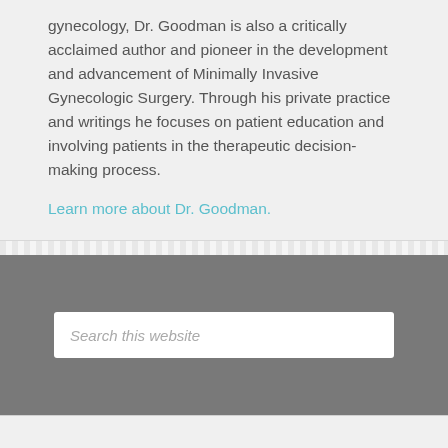gynecology, Dr. Goodman is also a critically acclaimed author and pioneer in the development and advancement of Minimally Invasive Gynecologic Surgery. Through his private practice and writings he focuses on patient education and involving patients in the therapeutic decision-making process.
Learn more about Dr. Goodman.
Search this website
Fields marked with an * are required